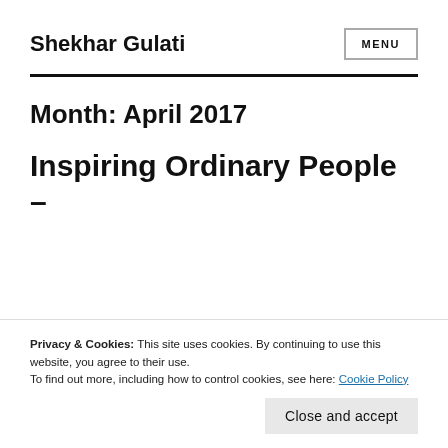Shekhar Gulati
Month: April 2017
Inspiring Ordinary People –
Privacy & Cookies: This site uses cookies. By continuing to use this website, you agree to their use.
To find out more, including how to control cookies, see here: Cookie Policy
Close and accept